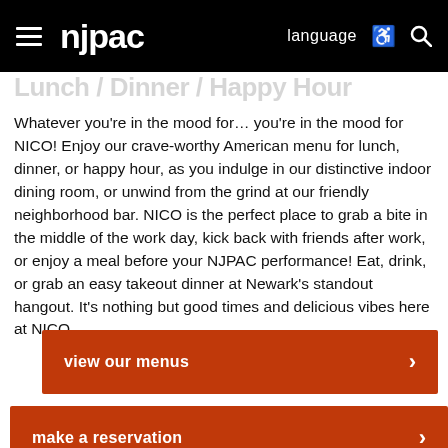njpac  language
Lunch / Dinner / Happy Hour
Whatever you're in the mood for… you're in the mood for NICO! Enjoy our crave-worthy American menu for lunch, dinner, or happy hour, as you indulge in our distinctive indoor dining room, or unwind from the grind at our friendly neighborhood bar. NICO is the perfect place to grab a bite in the middle of the work day, kick back with friends after work, or enjoy a meal before your NJPAC performance! Eat, drink, or grab an easy takeout dinner at Newark's standout hangout. It's nothing but good times and delicious vibes here at NICO.
view our menus
make a reservation